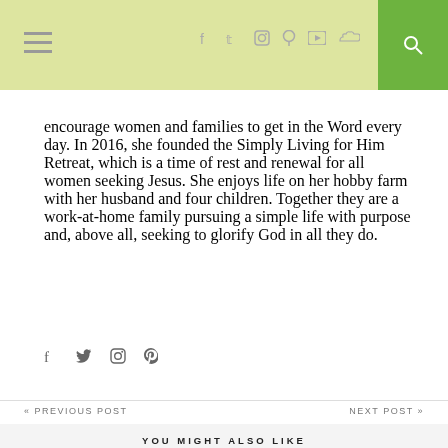Navigation bar with menu, social icons, and search
encourage women and families to get in the Word every day. In 2016, she founded the Simply Living for Him Retreat, which is a time of rest and renewal for all women seeking Jesus. She enjoys life on her hobby farm with her husband and four children. Together they are a work-at-home family pursuing a simple life with purpose and, above all, seeking to glorify God in all they do.
« PREVIOUS POST    NEXT POST »
YOU MIGHT ALSO LIKE